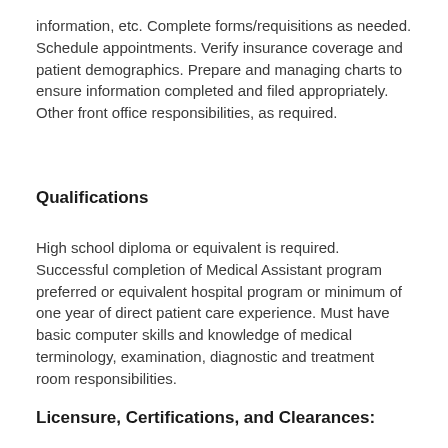information, etc. Complete forms/requisitions as needed. Schedule appointments. Verify insurance coverage and patient demographics. Prepare and managing charts to ensure information completed and filed appropriately. Other front office responsibilities, as required.
Qualifications
High school diploma or equivalent is required. Successful completion of Medical Assistant program preferred or equivalent hospital program or minimum of one year of direct patient care experience. Must have basic computer skills and knowledge of medical terminology, examination, diagnostic and treatment room responsibilities.
Licensure, Certifications, and Clearances: